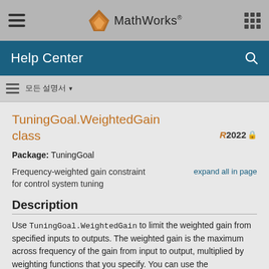MathWorks Help Center
TuningGoal.WeightedGain class
Package: TuningGoal
Frequency-weighted gain constraint for control system tuning
Description
Use TuningGoal.WeightedGain to limit the weighted gain from specified inputs to outputs. The weighted gain is the maximum across frequency of the gain from input to output, multiplied by weighting functions that you specify. You can use the TuningGoal.WeightedGain tuning goal